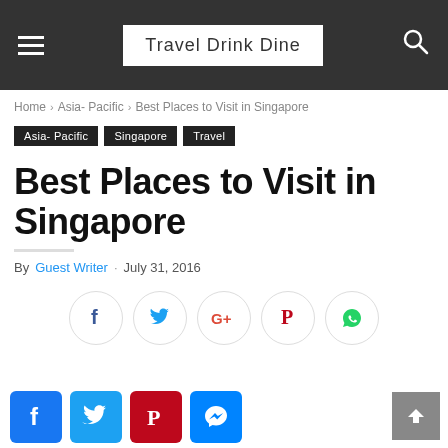Travel Drink Dine
Home > Asia- Pacific > Best Places to Visit in Singapore
Asia- Pacific  Singapore  Travel
Best Places to Visit in Singapore
By Guest Writer . July 31, 2016
[Figure (infographic): Social share buttons: Facebook, Twitter, Google+, Pinterest, WhatsApp (circle outline style)]
[Figure (infographic): Bottom social share buttons: Facebook, Twitter, Pinterest, Messenger (colored square rounded buttons) and scroll-to-top button]